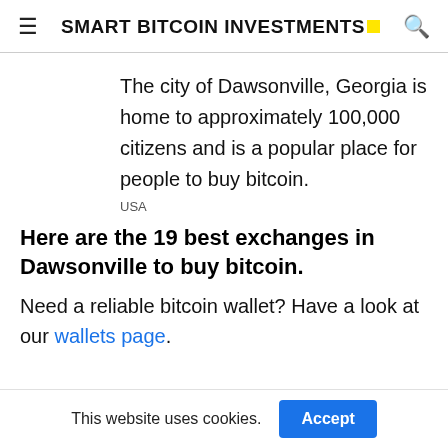SMART BITCOIN INVESTMENTS
The city of Dawsonville, Georgia is home to approximately 100,000 citizens and is a popular place for people to buy bitcoin.
USA
Here are the 19 best exchanges in Dawsonville to buy bitcoin.
Need a reliable bitcoin wallet? Have a look at our wallets page.
This website uses cookies. Accept